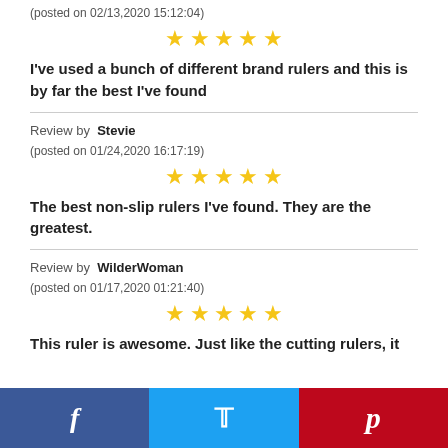(posted on 02/13,2020 15:12:04)
[Figure (other): 5 gold stars rating]
I've used a bunch of different brand rulers and this is by far the best I've found
Review by  Stevie
(posted on 01/24,2020 16:17:19)
[Figure (other): 5 gold stars rating]
The best non-slip rulers I've found. They are the greatest.
Review by  WilderWoman
(posted on 01/17,2020 01:21:40)
[Figure (other): 5 gold stars rating]
This ruler is awesome. Just like the cutting rulers, it
Facebook  Twitter  Pinterest